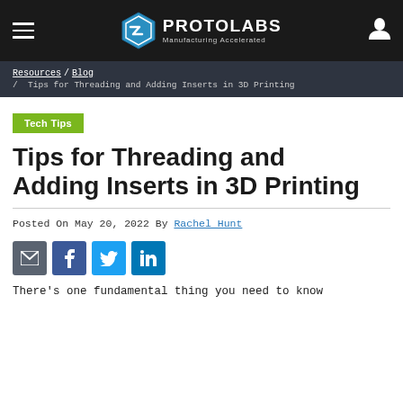PROTOLABS — Manufacturing Accelerated
Resources / Blog / Tips for Threading and Adding Inserts in 3D Printing
Tech Tips
Tips for Threading and Adding Inserts in 3D Printing
Posted On May 20, 2022 By Rachel Hunt
[Figure (infographic): Social share buttons: email, Facebook, Twitter, LinkedIn]
There's one fundamental thing you need to know